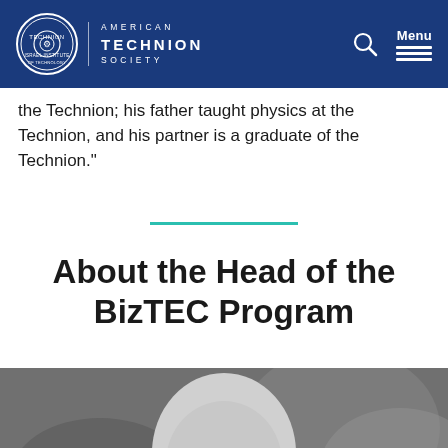American Technion Society
the Technion; his father taught physics at the Technion, and his partner is a graduate of the Technion."
About the Head of the BizTEC Program
[Figure (photo): Black and white portrait photo of a bald man wearing thick-framed glasses, looking slightly to the right, with a blurred background]